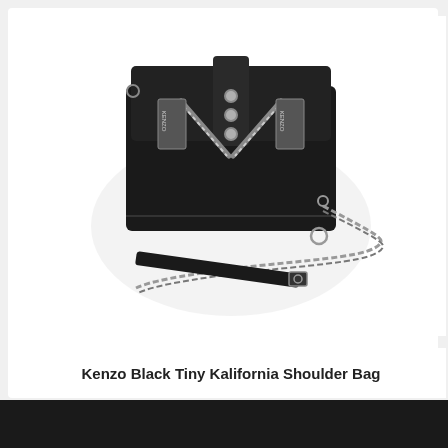[Figure (photo): A black Kenzo Tiny Kalifornia Shoulder Bag. The bag is black leather with silver zipper details forming a 'K' shape on the front flap, silver dome studs on the center strap, and a silver chain shoulder strap with an attached black leather strap. The Kenzo logo appears on the zipper pulls.]
Kenzo Black Tiny Kalifornia Shoulder Bag